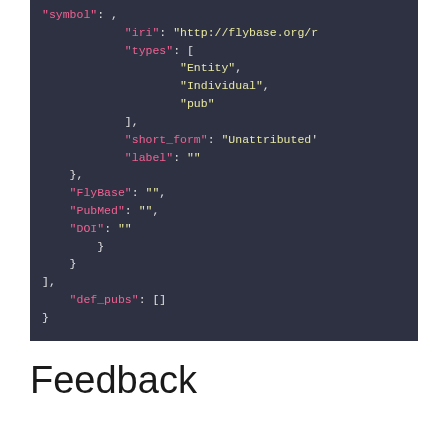[Figure (screenshot): Code block showing JSON data structure with keys: symbol (truncated), iri (http://flybase.org/...), types (array with Entity, Individual, pub), short_form (Unattributed...), label (empty string), FlyBase (empty string), PubMed (empty string), DOI (empty string), def_pubs (empty array), closing braces and brackets]
Feedback